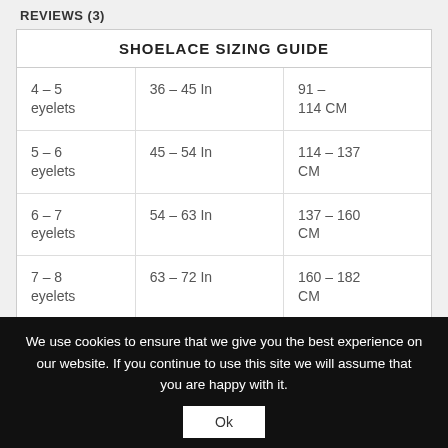REVIEWS (3)
| SHOELACE SIZING GUIDE |  |  |
| --- | --- | --- |
| 4 – 5 eyelets | 36 – 45 In | 91 – 114 CM |
| 5 – 6 eyelets | 45 – 54 In | 114 – 137 CM |
| 6 – 7 eyelets | 54 – 63 In | 137 – 160 CM |
| 7 – 8 eyelets | 63 – 72 In | 160 – 182 CM |
| 8 – 9 | 72 In | 182 CM |
We use cookies to ensure that we give you the best experience on our website. If you continue to use this site we will assume that you are happy with it.